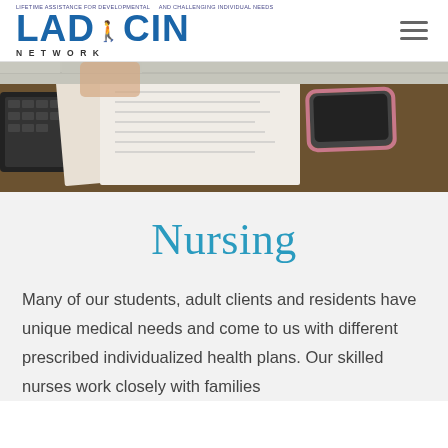[Figure (logo): LADACIN Network logo with blue letters and silhouette of two figures. Text above reads 'LIFETIME ASSISTANCE FOR DEVELOPMENTAL AND CHALLENGING INDIVIDUAL NEEDS'. Below logo letters: NETWORK in spaced capitals.]
[Figure (photo): Photo of a desk with papers, a keyboard, and a smartphone, suggesting an office or nursing station environment.]
Nursing
Many of our students, adult clients and residents have unique medical needs and come to us with different prescribed individualized health plans. Our skilled nurses work closely with families